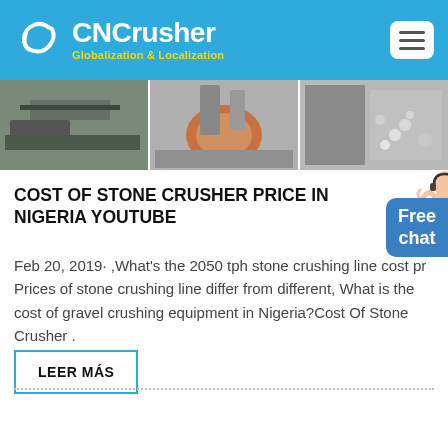CNCrusher Globalization & Localization
[Figure (photo): Banner strip showing three industrial stone crusher machinery images side by side]
COST OF STONE CRUSHER PRICE IN NIGERIA YOUTUBE
Feb 20, 2019· ,What's the 2050 tph stone crushing line cost pr Prices of stone crushing line differ from different, What is the cost of gravel crushing equipment in Nigeria?Cost Of Stone Crusher .
LEER MÁS